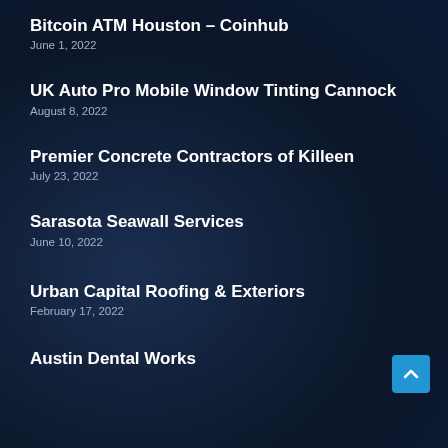Bitcoin ATM Houston – Coinhub
June 1, 2022
UK Auto Pro Mobile Window Tinting Cannock
August 8, 2022
Premier Concrete Contractors of Killeen
July 23, 2022
Sarasota Seawall Services
June 10, 2022
Urban Capital Roofing & Exteriors
February 17, 2022
Austin Dental Works